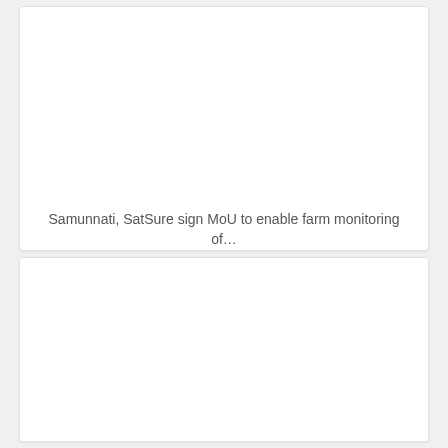[Figure (photo): Card with blank image area at top]
Samunnati, SatSure sign MoU to enable farm monitoring of…
[Figure (photo): Card with blank image area, no caption visible]